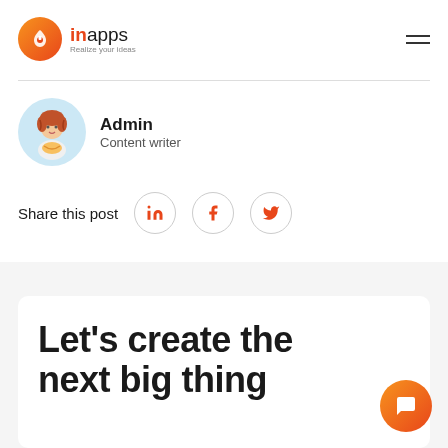inApps - Realize your ideas
[Figure (logo): InApps logo: orange circle with house/pin icon, 'inApps' text and tagline 'Realize your ideas']
Admin
Content writer
Share this post
Let's create the next big thing